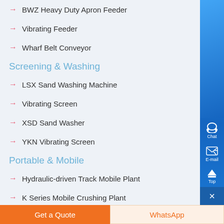BWZ Heavy Duty Apron Feeder
Vibrating Feeder
Wharf Belt Conveyor
Screening & Washing
LSX Sand Washing Machine
Vibrating Screen
XSD Sand Washer
YKN Vibrating Screen
Portable & Mobile
Hydraulic-driven Track Mobile Plant
K Series Mobile Crushing Plant
Mobile Cone Crusher
Get a Quote
WhatsApp